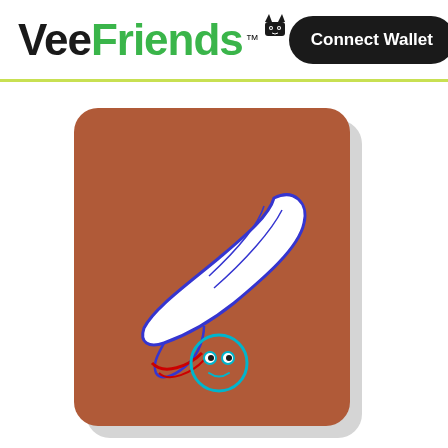VeeFriends™ — Connect Wallet
[Figure (illustration): VeeFriends NFT card showing a cartoon character with a large feather/quill and a small round blue face with eyes, on a brown/terracotta background card. The card has rounded corners and a light shadow.]